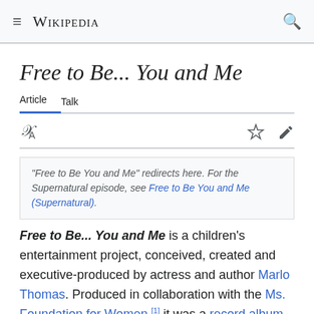Wikipedia
Free to Be... You and Me
Article  Talk
"Free to Be You and Me" redirects here. For the Supernatural episode, see Free to Be You and Me (Supernatural).
Free to Be... You and Me is a children's entertainment project, conceived, created and executive-produced by actress and author Marlo Thomas. Produced in collaboration with the Ms. Foundation for Women,[1] it was a record album and illustrated book first released in November 1972 featuring songs and stories sung or told by celebrities of the day (credited as "Marlo Thomas and